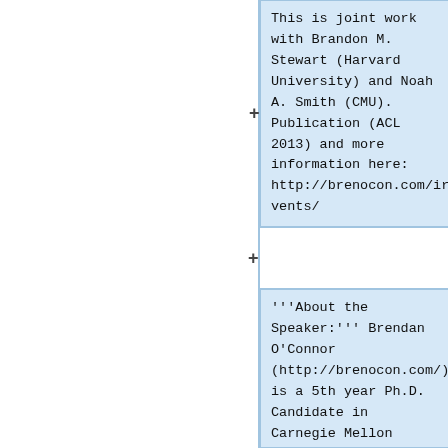This is joint work with Brandon M. Stewart (Harvard University) and Noah A. Smith (CMU). Publication (ACL 2013) and more information here: http://brenocon.com/irevents/
'''About the Speaker:''' Brendan O'Connor (http://brenocon.com/) is a 5th year Ph.D. Candidate in Carnegie Mellon University's Machine Learning Deptartment. He is interested in machine